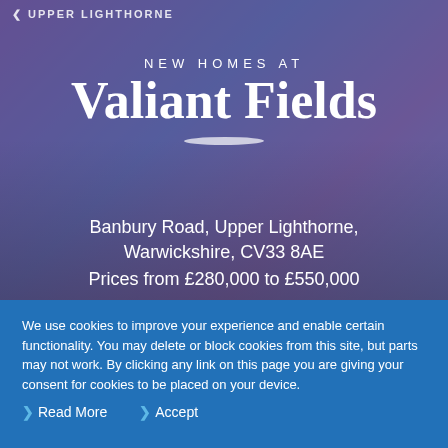UPPER LIGHTHORNE
[Figure (photo): Hero image showing new housing development with brick houses, trees, and a purple-blue overlay sky. Text overlaid on image.]
NEW HOMES AT
Valiant Fields
Banbury Road, Upper Lighthorne, Warwickshire, CV33 8AE
Prices from £280,000 to £550,000
We use cookies to improve your experience and enable certain functionality. You may delete or block cookies from this site, but parts may not work. By clicking any link on this page you are giving your consent for cookies to be placed on your device.
Read More
Accept